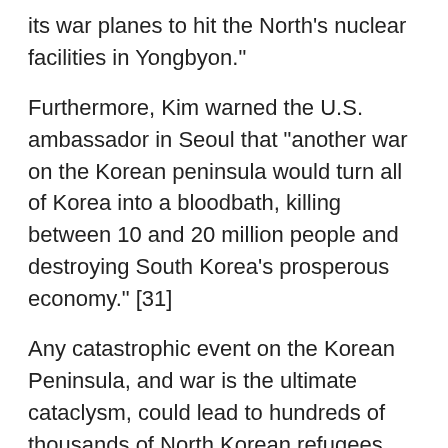its war planes to hit the North’s nuclear facilities in Yongbyon.”
Furthermore, Kim warned the U.S. ambassador in Seoul that “another war on the Korean peninsula would turn all of Korea into a bloodbath, killing between 10 and 20 million people and destroying South Korea’s prosperous economy.” [31]
Any catastrophic event on the Korean Peninsula, and war is the ultimate cataclysm, could lead to hundreds of thousands of North Korean refugees fleeing to Russia and millions to China.
The nearly nine-year war in Afghanistan being waged by the U.S. and NATO has led to an explosion of violence and destabilization in three nations flanking